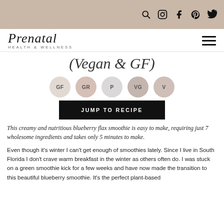Prenatal Health & Wellness — navigation icons
(Vegan & GF)
[Figure (infographic): Five circular badges labeled GF, GR, P, VG, V indicating recipe attributes]
JUMP TO RECIPE
This creamy and nutritious blueberry flax smoothie is easy to make, requiring just 7 wholesome ingredients and takes only 5 minutes to make.
Even though it's winter I can't get enough of smoothies lately. Since I live in South Florida I don't crave warm breakfast in the winter as others often do. I was stuck on a green smoothie kick for a few weeks and have now made the transition to this beautiful blueberry smoothie. It's the perfect plant-based